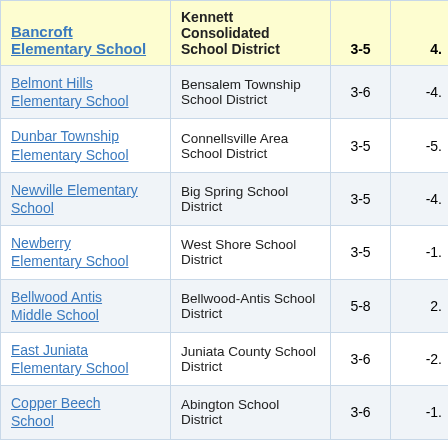| School | District | Grades | Value |
| --- | --- | --- | --- |
| Bancroft Elementary School | Kennett Consolidated School District | 3-5 | 4. |
| Belmont Hills Elementary School | Bensalem Township School District | 3-6 | -4. |
| Dunbar Township Elementary School | Connellsville Area School District | 3-5 | -5. |
| Newville Elementary School | Big Spring School District | 3-5 | -4. |
| Newberry Elementary School | West Shore School District | 3-5 | -1. |
| Bellwood Antis Middle School | Bellwood-Antis School District | 5-8 | 2. |
| East Juniata Elementary School | Juniata County School District | 3-6 | -2. |
| Copper Beech School | Abington School District | 3-6 | -1. |